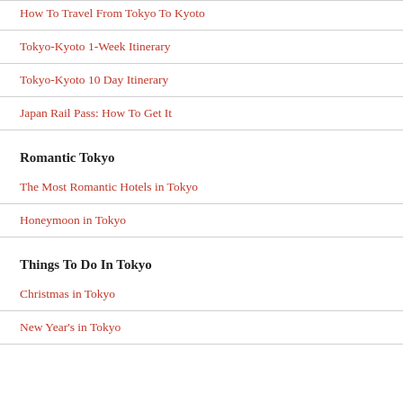How To Travel From Tokyo To Kyoto
Tokyo-Kyoto 1-Week Itinerary
Tokyo-Kyoto 10 Day Itinerary
Japan Rail Pass: How To Get It
Romantic Tokyo
The Most Romantic Hotels in Tokyo
Honeymoon in Tokyo
Things To Do In Tokyo
Christmas in Tokyo
New Year's in Tokyo